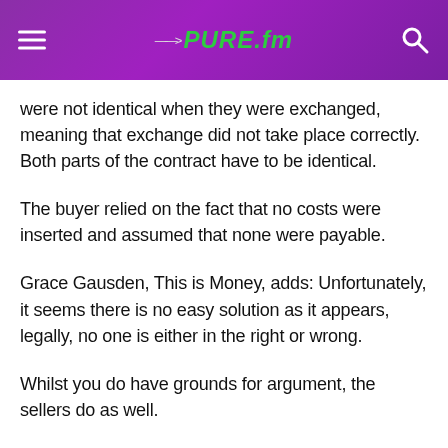PURE.fm
were not identical when they were exchanged, meaning that exchange did not take place correctly. Both parts of the contract have to be identical.
The buyer relied on the fact that no costs were inserted and assumed that none were payable.
Grace Gausden, This is Money, adds: Unfortunately, it seems there is no easy solution as it appears, legally, no one is either in the right or wrong.
Whilst you do have grounds for argument, the sellers do as well.
Either you or the sellers will have to reach a